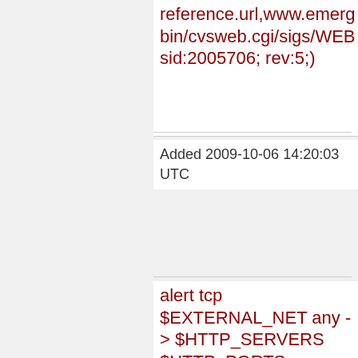reference.url,www.emerg... bin/cvsweb.cgi/sigs/WEB... sid:2005706; rev:5;)
Added 2009-10-06 14:20:03 UTC
alert tcp $EXTERNAL_NET any -> $HTTP_SERVERS $HTTP_PORTS (msg:"ET WEB_SPECIFIC Rialto SQL Injection Attempt -- searchoption.asp cat UNION SELECT"; flow:established,to_server; uricontent:"/searchoption